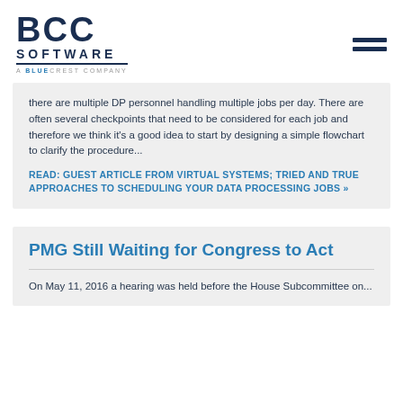[Figure (logo): BCC Software - A BlueCrest Company logo]
there are multiple DP personnel handling multiple jobs per day. There are often several checkpoints that need to be considered for each job and therefore we think it’s a good idea to start by designing a simple flowchart to clarify the procedure...
READ: GUEST ARTICLE FROM VIRTUAL SYSTEMS; TRIED AND TRUE APPROACHES TO SCHEDULING YOUR DATA PROCESSING JOBS »
PMG Still Waiting for Congress to Act
On May 11, 2016 a hearing was held before the House Subcommittee on...